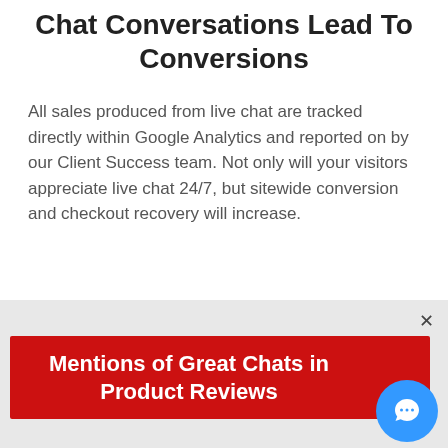Chat Conversations Lead To Conversions
All sales produced from live chat are tracked directly within Google Analytics and reported on by our Client Success team. Not only will your visitors appreciate live chat 24/7, but sitewide conversion and checkout recovery will increase.
[Figure (infographic): Red banner with white bold text reading 'Mentions of Great Chats in Product Reviews' with a blue circular chat icon in the bottom right corner. A close (×) button is in the top right of the gray popup area.]